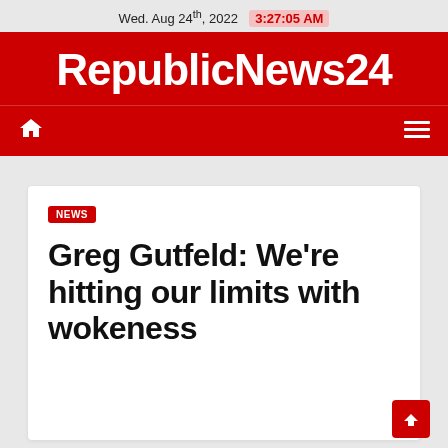Wed. Aug 24th, 2022  3:27:05 AM
RepublicNews24
NEWS
Greg Gutfeld: We're hitting our limits with wokeness